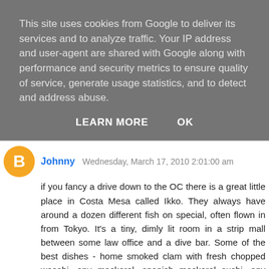This site uses cookies from Google to deliver its services and to analyze traffic. Your IP address and user-agent are shared with Google along with performance and security metrics to ensure quality of service, generate usage statistics, and to detect and address abuse.
LEARN MORE    OK
Johnny  Wednesday, March 17, 2010 2:01:00 am
if you fancy a drive down to the OC there is a great little place in Costa Mesa called Ikko. They always have around a dozen different fish on special, often flown in from Tokyo. It's a tiny, dimly lit room in a strip mall between some law office and a dive bar. Some of the best dishes - home smoked clam with fresh chopped wasabi, any mackerel, spanish mackerel sushi, any yellowtail, seared albacore with salsa, penshell with truffle. and many more. I also once sat next to a japanese fish importer who said the red snapper there was best in LA. Have to book ahead now that word is out but ive been going since it opened 5 years ago and it's the best i've had in the LA area.
few...    pics...